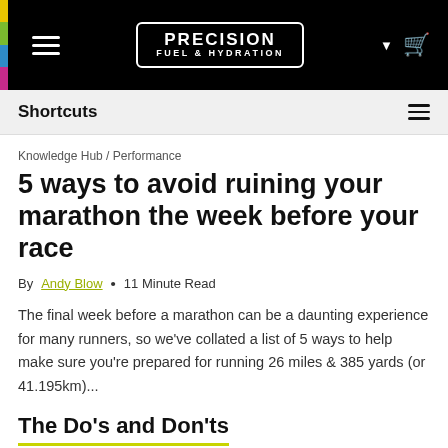PRECISION FUEL & HYDRATION
Shortcuts
Knowledge Hub / Performance
5 ways to avoid ruining your marathon the week before your race
By Andy Blow • 11 Minute Read
The final week before a marathon can be a daunting experience for many runners, so we've collated a list of 5 ways to help make sure you're prepared for running 26 miles & 385 yards (or 41.195km)...
The Do's and Don'ts